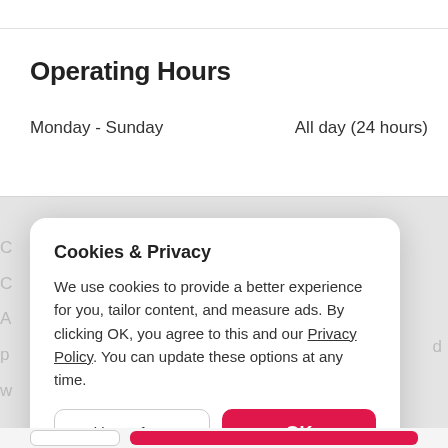Operating Hours
Monday - Sunday    All day (24 hours)
Cookies & Privacy
We use cookies to provide a better experience for you, tailor content, and measure ads. By clicking OK, you agree to this and our Privacy Policy. You can update these options at any time.
Cookie Preferences
OK